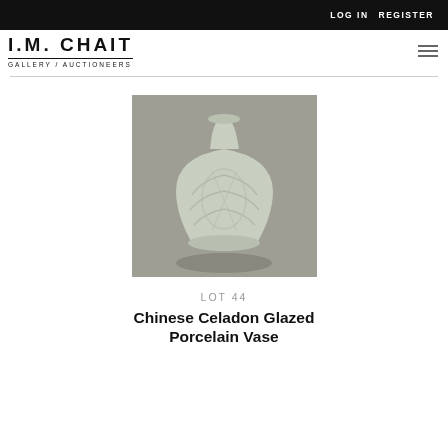LOG IN   REGISTER
[Figure (logo): I.M. CHAIT GALLERY / AUCTIONEERS logo in bold black serif-style sans-serif uppercase letters]
[Figure (photo): Chinese celadon glazed porcelain vase with floral relief decoration, photographed against a grey background]
LOT 44
Chinese Celadon Glazed Porcelain Vase